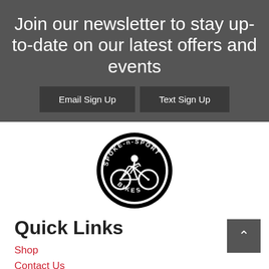Join our newsletter to stay up-to-date on our latest offers and events
Email Sign Up
Text Sign Up
[Figure (logo): Spoke-n-Sport Bikes circular logo with cyclist silhouette]
Quick Links
Shop
Contact Us
Shipping & Return Policies